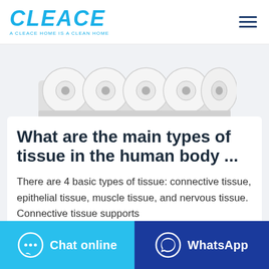CLEACE — A CLEACE HOME IS A CLEAN HOME
[Figure (photo): Five white toilet paper rolls in a row against a light grey background]
What are the main types of tissue in the human body ...
There are 4 basic types of tissue: connective tissue, epithelial tissue, muscle tissue, and nervous tissue. Connective tissue supports
Chat online | WhatsApp